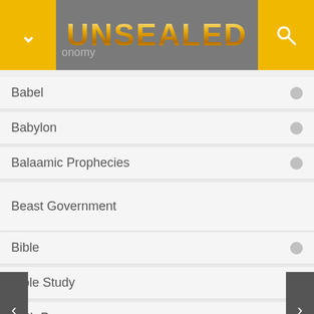UNSEALED
Babel
Babylon
Balaamic Prophecies
Beast Government
Bible
Bible Study
Birth Pangs
Black Horse
Blasphemy
Blood M...